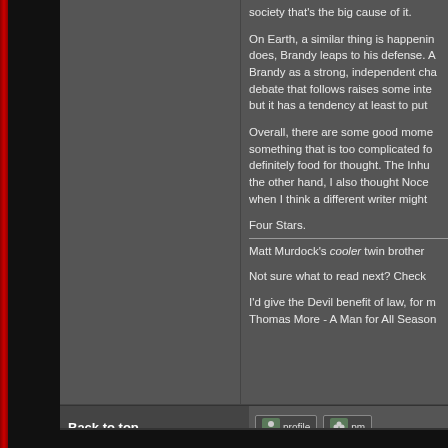society that's the big cause of it.

On Earth, a similar thing is happening does, Brandy leaps to his defense. A Brandy as a strong, independent cha debate that follows raises some inte but it has a tendency at least to put 

Overall, there are some good mome something that is too complicated fo definitely food for thought. The Inhu the other hand, I also thought Noce when I think a different writer might 

Four Stars.

Matt Murdock's cooler twin brother

Not sure what to read next? Check 

I'd give the Devil benefit of law, for m Thomas More - A Man for All Season
Back to top